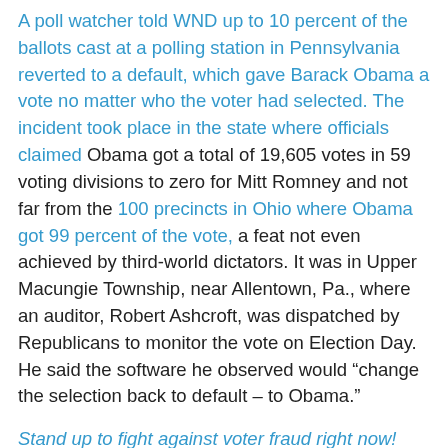A poll watcher told WND up to 10 percent of the ballots cast at a polling station in Pennsylvania reverted to a default, which gave Barack Obama a vote no matter who the voter had selected. The incident took place in the state where officials claimed Obama got a total of 19,605 votes in 59 voting divisions to zero for Mitt Romney and not far from the 100 precincts in Ohio where Obama got 99 percent of the vote, a feat not even achieved by third-world dictators. It was in Upper Macungie Township, near Allentown, Pa., where an auditor, Robert Ashcroft, was dispatched by Republicans to monitor the vote on Election Day. He said the software he observed would “change the selection back to default – to Obama.”
Stand up to fight against voter fraud right now!
Fox News reported that voters in Nevada, North Carolina,